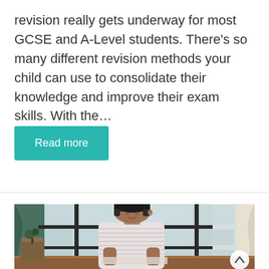revision really gets underway for most GCSE and A-Level students. There's so many different revision methods your child can use to consolidate their knowledge and improve their exam skills. With the…
Read more
[Figure (photo): A young male student sitting at a wooden desk, writing or studying, with large grid windows and curtains visible in the background. A circular scroll-to-top button appears in the bottom right corner of the image.]